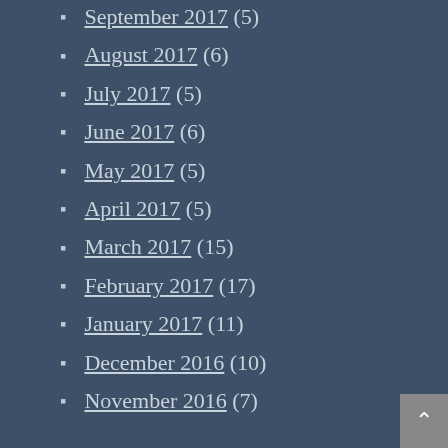September 2017 (5)
August 2017 (6)
July 2017 (5)
June 2017 (6)
May 2017 (5)
April 2017 (5)
March 2017 (15)
February 2017 (17)
January 2017 (11)
December 2016 (10)
November 2016 (7)